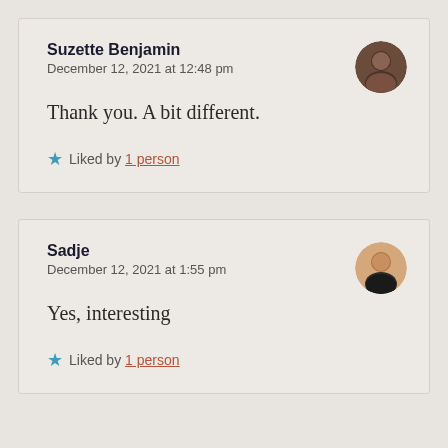Suzette Benjamin
December 12, 2021 at 12:48 pm

Thank you. A bit different.

★ Liked by 1 person
Sadje
December 12, 2021 at 1:55 pm

Yes, interesting

★ Liked by 1 person